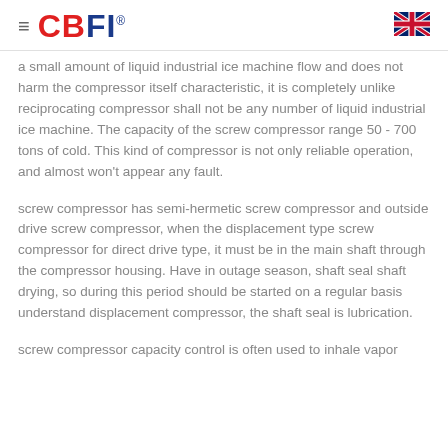CBFI
a small amount of liquid industrial ice machine flow and does not harm the compressor itself characteristic, it is completely unlike reciprocating compressor shall not be any number of liquid industrial ice machine. The capacity of the screw compressor range 50 - 700 tons of cold. This kind of compressor is not only reliable operation, and almost won't appear any fault.
screw compressor has semi-hermetic screw compressor and outside drive screw compressor, when the displacement type screw compressor for direct drive type, it must be in the main shaft through the compressor housing. Have in outage season, shaft seal shaft drying, so during this period should be started on a regular basis understand displacement compressor, the shaft seal is lubrication.
screw compressor capacity control is often used to inhale vapor